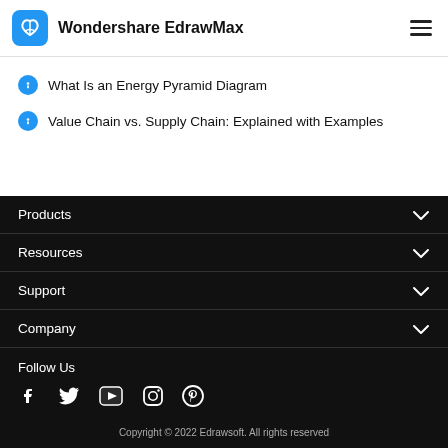Wondershare EdrawMax
What Is an Energy Pyramid Diagram
Value Chain vs. Supply Chain: Explained with Examples
Products
Resources
Support
Company
Follow Us
Copyright © 2022 Edrawsoft. All rights reserved